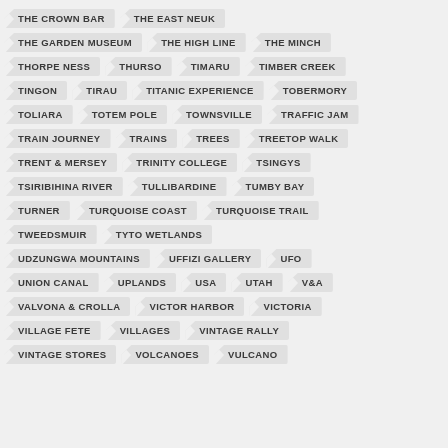THE CROWN BAR
THE EAST NEUK
THE GARDEN MUSEUM
THE HIGH LINE
THE MINCH
THORPE NESS
THURSO
TIMARU
TIMBER CREEK
TINGON
TIRAU
TITANIC EXPERIENCE
TOBERMORY
TOLIARA
TOTEM POLE
TOWNSVILLE
TRAFFIC JAM
TRAIN JOURNEY
TRAINS
TREES
TREETOP WALK
TRENT & MERSEY
TRINITY COLLEGE
TSINGYS
TSIRIBIHINA RIVER
TULLIBARDINE
TUMBY BAY
TURNER
TURQUOISE COAST
TURQUOISE TRAIL
TWEEDSMUIR
TYTO WETLANDS
UDZUNGWA MOUNTAINS
UFFIZI GALLERY
UFO
UNION CANAL
UPLANDS
USA
UTAH
V&A
VALVONA & CROLLA
VICTOR HARBOR
VICTORIA
VILLAGE FETE
VILLAGES
VINTAGE RALLY
VINTAGE STORES
VOLCANOES
VULCANO